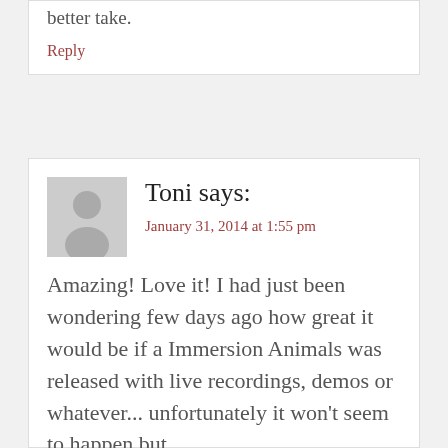better take.
Reply
Toni says:
January 31, 2014 at 1:55 pm
Amazing! Love it! I had just been wondering few days ago how great it would be if a Immersion Animals was released with live recordings, demos or whatever... unfortunately it won't seem to happen but...